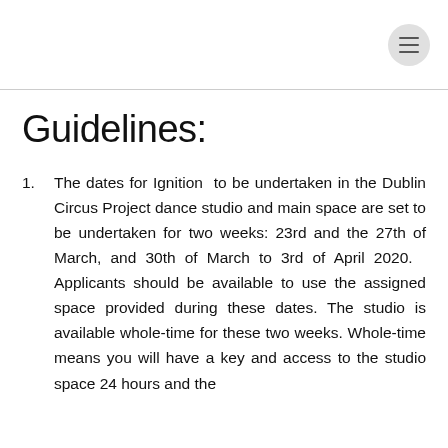Guidelines:
The dates for Ignition  to be undertaken in the Dublin Circus Project dance studio and main space are set to be undertaken for two weeks: 23rd and the 27th of March, and 30th of March to 3rd of April 2020.  Applicants should be available to use the assigned space provided during these dates. The studio is available whole-time for these two weeks. Whole-time means you will have a key and access to the studio space 24 hours and the